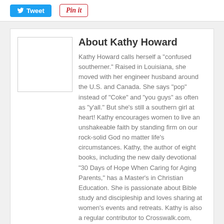[Figure (other): Tweet button (blue with Twitter bird icon) and Pin it button (white with red border and cursive text)]
About Kathy Howard
Kathy Howard calls herself a “confused southerner.” Raised in Louisiana, she moved with her engineer husband around the U.S. and Canada. She says “pop” instead of “Coke” and “you guys” as often as “y’all.” But she’s still a southern girl at heart! Kathy encourages women to live an unshakeable faith by standing firm on our rock-solid God no matter life’s circumstances. Kathy, the author of eight books, including the new daily devotional “30 Days of Hope When Caring for Aging Parents,” has a Master’s in Christian Education. She is passionate about Bible study and discipleship and loves sharing at women’s events and retreats. Kathy is also a regular contributor to Crosswalk.com, Hello Mornings, Arise Daily, and more. Kathy and her “mostly retired” husband live in the Dallas/Ft Worth area near family. They have three married children, four grandsons, and three dogs – one of them on purpose. She provides free